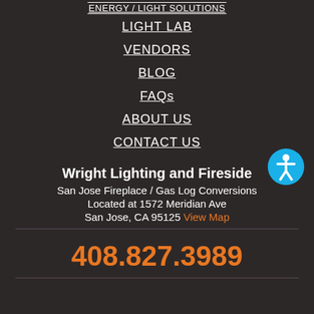ENERGY / LIGHT SOLUTIONS
LIGHT LAB
VENDORS
BLOG
FAQs
ABOUT US
CONTACT US
[Figure (illustration): Accessibility icon — blue circle with white figure person symbol]
Wright Lighting and Fireside
San Jose Fireplace / Gas Log Conversions
Located at 1572 Meridian Ave
San Jose, CA 95125 View Map
408.827.3989